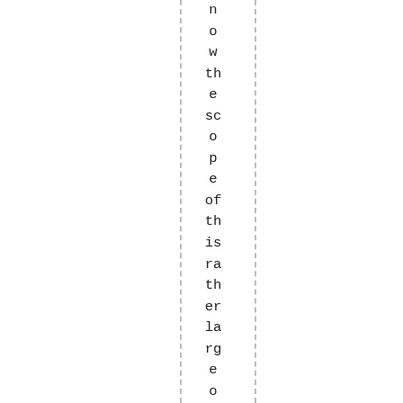how the scope of this is rather large object. As a point of